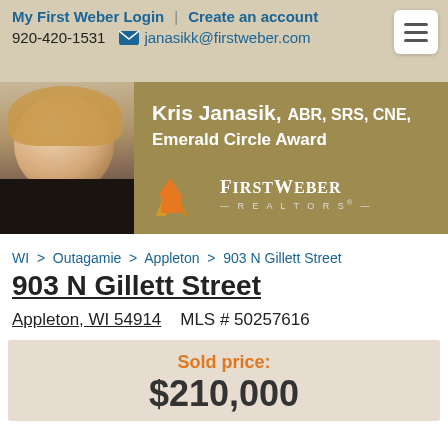My First Weber Login | Create an account
920-420-1531  janasikk@firstweber.com
[Figure (photo): Agent profile banner with photo of Kris Janasik (blonde woman in black top), gold/tan background, agent name 'Kris Janasik, ABR, SRS, CNE, Emerald Circle Award', and First Weber Realtors logo]
WI > Outagamie > Appleton > 903 N Gillett Street
903 N Gillett Street
Appleton, WI 54914   MLS # 50257616
Sold price:
$210,000